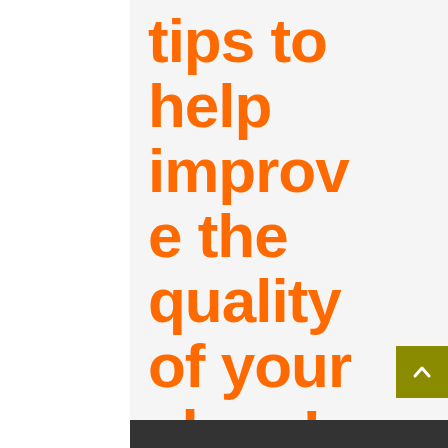tips to help improve the quality of your sleep!